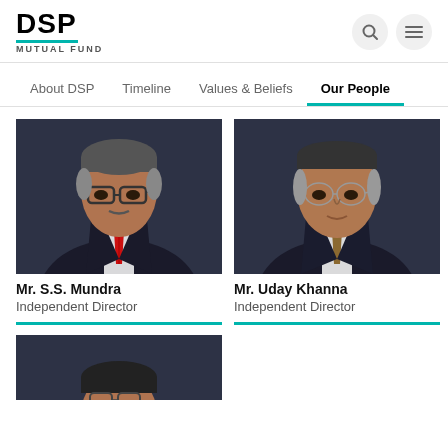DSP MUTUAL FUND
About DSP | Timeline | Values & Beliefs | Our People
[Figure (photo): Professional portrait of Mr. S.S. Mundra, a man in a dark suit with red tie and glasses, against a dark background]
Mr. S.S. Mundra
Independent Director
[Figure (photo): Professional portrait of Mr. Uday Khanna, a man in a dark pinstripe suit with glasses, against a dark background]
Mr. Uday Khanna
Independent Director
[Figure (photo): Professional portrait of a third person (partially visible), a younger man with glasses against a dark background]